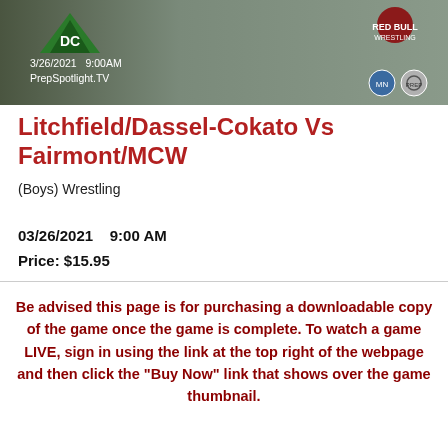[Figure (photo): Banner image with team logos, date 3/26/2021 9:00AM, PrepSpotlight.TV, and sponsor icons on dark background]
Litchfield/Dassel-Cokato Vs Fairmont/MCW
(Boys) Wrestling
03/26/2021    9:00 AM
Price: $15.95
Be advised this page is for purchasing a downloadable copy of the game once the game is complete. To watch a game LIVE, sign in using the link at the top right of the webpage and then click the "Buy Now" link that shows over the game thumbnail.